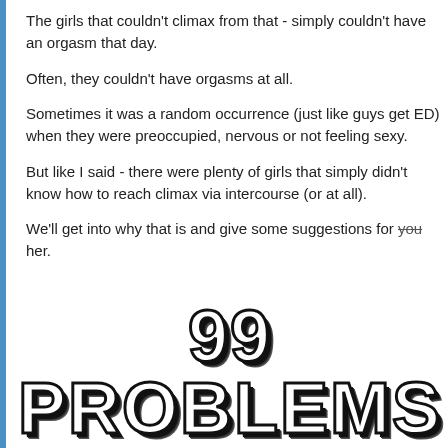The girls that couldn't climax from that - simply couldn't have an orgasm that day.
Often, they couldn't have orgasms at all.
Sometimes it was a random occurrence (just like guys get ED) when they were preoccupied, nervous or not feeling sexy.
But like I said - there were plenty of girls that simply didn't know how to reach climax via intercourse (or at all).
We'll get into why that is and give some suggestions for you [strikethrough] her.
[Figure (illustration): Large bold stylized text reading '99 PROBLEMS' with thick black outline and drop shadow effect on white background]